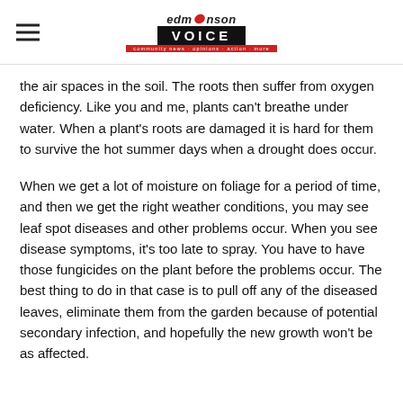edmонson VOICE
the air spaces in the soil. The roots then suffer from oxygen deficiency. Like you and me, plants can't breathe under water. When a plant's roots are damaged it is hard for them to survive the hot summer days when a drought does occur.
When we get a lot of moisture on foliage for a period of time, and then we get the right weather conditions, you may see leaf spot diseases and other problems occur. When you see disease symptoms, it's too late to spray. You have to have those fungicides on the plant before the problems occur. The best thing to do in that case is to pull off any of the diseased leaves, eliminate them from the garden because of potential secondary infection, and hopefully the new growth won't be as affected.